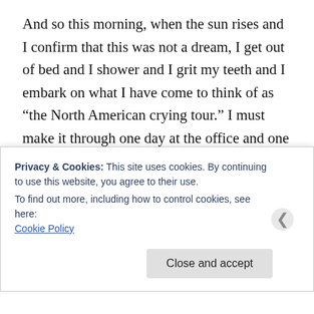And so this morning, when the sun rises and I confirm that this was not a dream, I get out of bed and I shower and I grit my teeth and I embark on what I have come to think of as “the North American crying tour.” I must make it through one day at the office and one overnight flight from San Francisco to Atlanta and just to hammer one last nail in the coffin housing my dignity, a commuter flight from Atlanta to D.C. at 7 A.M. It occurs to me that someday I am going to find this funny. It might even be funny already.
I make it through a solid three hours, a testament to
Privacy & Cookies: This site uses cookies. By continuing to use this website, you agree to their use.
To find out more, including how to control cookies, see here:
Cookie Policy
Close and accept